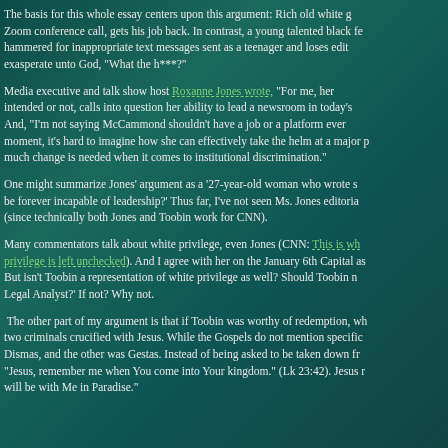The basis for this whole essay centers upon this argument: Rich old white g... Zoom conference call, gets his job back. In contrast, a young talented black fe... hammered for inappropriate text messages sent as a teenager and loses edit... exasperate unto God, "What the h***?"
Media executive and talk show host Roxanne Jones wrote, "For me, her... intended or not, calls into question her ability to lead a newsroom in today's... And, "I'm not saying McCammond shouldn't have a job or a platform ever... moment, it's hard to imagine how she can effectively take the helm at a major p... much change is needed when it comes to institutional discrimination."
One might summarize Jones' argument as a '27-year-old woman who wrote s... be forever incapable of leadership?' Thus far, I've not seen Ms. Jones editoria... (since technically both Jones and Toobin work for CNN).
Many commentators talk about white privilege, even Jones (CNN: This is wh... privilege is left unchecked). And I agree with her on the January 6th Capital as... But isn't Toobin a representation of white privilege as well? Should Toobin n... Legal Analyst?' If not? Why not.
The other part of my argument is that if Toobin was worthy of redemption, wh... two criminals crucified with Jesus. While the Gospels do not mention specific... Dismas, and the other was Gestas. Instead of being asked to be taken down fr... "Jesus, remember me when You come into Your kingdom." (Lk 23:42). Jesus r... will be with Me in Paradise."